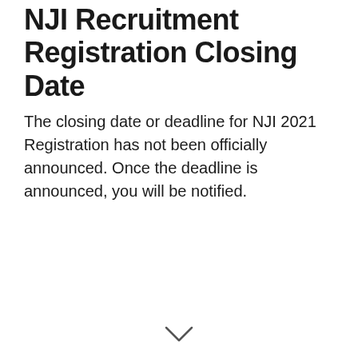NJI Recruitment Registration Closing Date
The closing date or deadline for NJI 2021 Registration has not been officially announced. Once the deadline is announced, you will be notified.